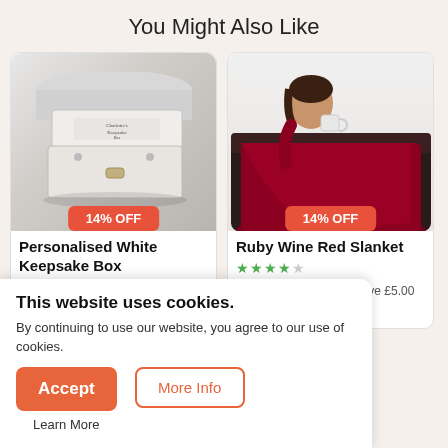You Might Also Like
[Figure (photo): White personalised keepsake box with Charlotte's Keepsake Box text, with 14% OFF badge]
Personalised White Keepsake Box
★★★★½
£29.99 was £34.99 save £5.00
[Figure (photo): Woman sitting on dark leather sofa wrapped in ruby wine red blanket slanket, with 14% OFF badge]
Ruby Wine Red Slanket
★★★★½
£29.99 was £34.99 save £5.00
This website uses cookies. By continuing to use our website, you agree to our use of cookies.
Accept
More Info
Learn More